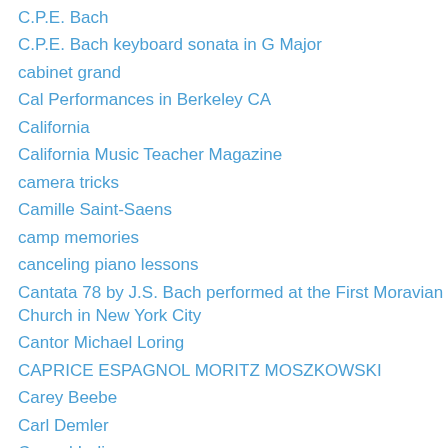C.P.E. Bach
C.P.E. Bach keyboard sonata in G Major
cabinet grand
Cal Performances in Berkeley CA
California
California Music Teacher Magazine
camera tricks
Camille Saint-Saens
camp memories
canceling piano lessons
Cantata 78 by J.S. Bach performed at the First Moravian Church in New York City
Cantor Michael Loring
CAPRICE ESPAGNOL MORITZ MOSZKOWSKI
Carey Beebe
Carl Demler
Carmel Indiana
Carnegie Hall
Carnival of the Animals
Carol Burnett